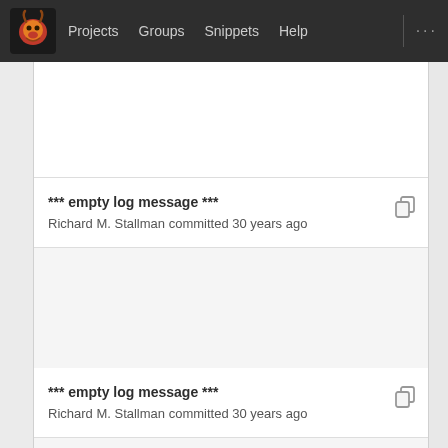Projects  Groups  Snippets  Help  ...
*** empty log message ***
Richard M. Stallman committed 30 years ago
*** empty log message ***
Richard M. Stallman committed 30 years ago